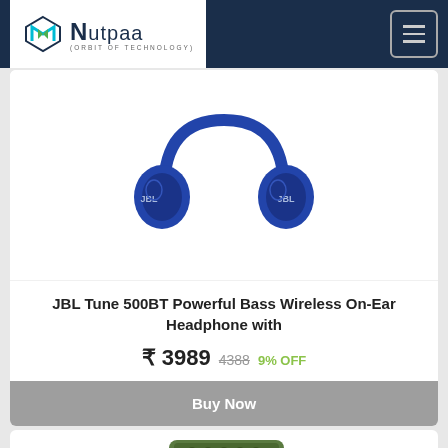NUTPAA
[Figure (photo): Blue JBL Tune 500BT wireless on-ear headphones on white background]
JBL Tune 500BT Powerful Bass Wireless On-Ear Headphone with
₹ 3989  4388  9% OFF
Buy Now
[Figure (photo): Green JBL Go portable Bluetooth speaker on white background]